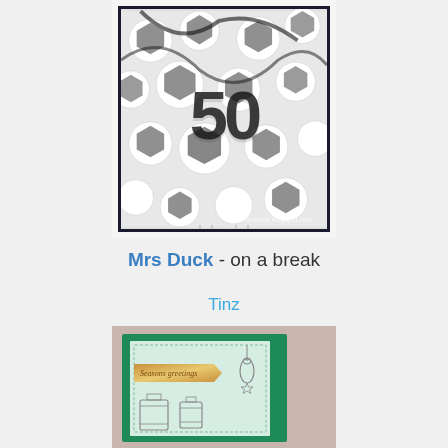[Figure (photo): Photo of a handmade card featuring soccer balls background with black glitter number decorations, displayed on an easel stand. Watermark reads 'cardsrus.blogspot.com']
Mrs Duck - on a break
Tinz
[Figure (photo): Photo of a handmade greeting card with green card base, mint/light green panel with dashed border, gold glitter banner reading 'Seasons greetings', hanging ornament decorations, and lantern stamp images at bottom]